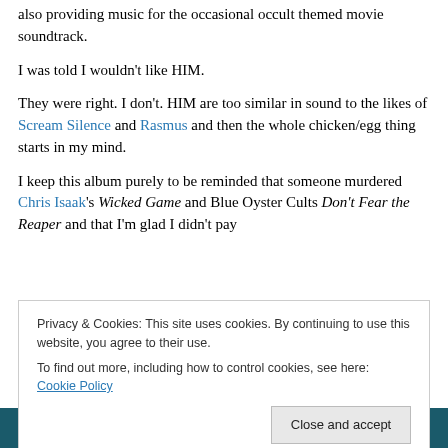also providing music for the occasional occult themed movie soundtrack.
I was told I wouldn't like HIM.
They were right. I don't. HIM are too similar in sound to the likes of Scream Silence and Rasmus and then the whole chicken/egg thing starts in my mind.
I keep this album purely to be reminded that someone murdered Chris Isaak's Wicked Game and Blue Oyster Cults Don't Fear the Reaper and that I'm glad I didn't pay for it.
Privacy & Cookies: This site uses cookies. By continuing to use this website, you agree to their use.
To find out more, including how to control cookies, see here: Cookie Policy
[Figure (screenshot): Video thumbnail strip with dark teal background and red play button triangle]